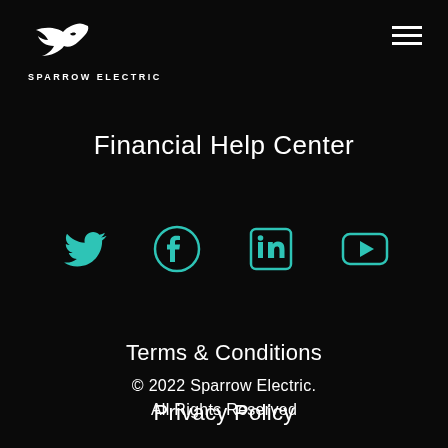[Figure (logo): Sparrow Electric logo: white bird silhouette above text 'SPARROW ELECTRIC']
Financial Help Center
[Figure (infographic): Four social media icons in teal outline style: Twitter bird, Facebook circle, LinkedIn square, YouTube square with play button]
Terms & Conditions
Privacy Policy
© 2022 Sparrow Electric.
All Rights Reserved